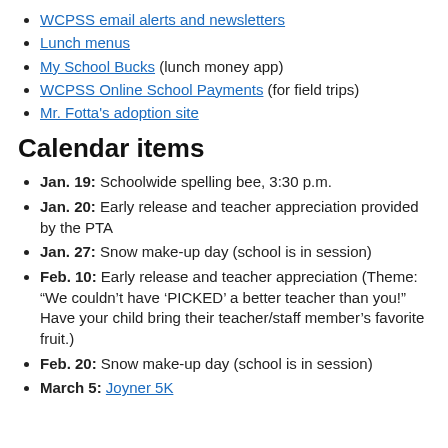WCPSS email alerts and newsletters
Lunch menus
My School Bucks (lunch money app)
WCPSS Online School Payments (for field trips)
Mr. Fotta's adoption site
Calendar items
Jan. 19: Schoolwide spelling bee, 3:30 p.m.
Jan. 20: Early release and teacher appreciation provided by the PTA
Jan. 27: Snow make-up day (school is in session)
Feb. 10: Early release and teacher appreciation (Theme: “We couldn’t have ‘PICKED’ a better teacher than you!” Have your child bring their teacher/staff member’s favorite fruit.)
Feb. 20: Snow make-up day (school is in session)
March 5: Joyner 5K